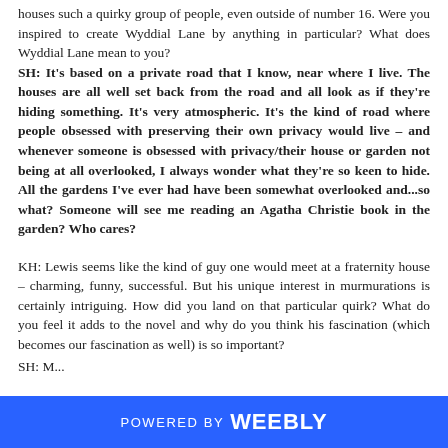houses such a quirky group of people, even outside of number 16. Were you inspired to create Wyddial Lane by anything in particular? What does Wyddial Lane mean to you?
SH: It's based on a private road that I know, near where I live. The houses are all well set back from the road and all look as if they're hiding something. It's very atmospheric. It's the kind of road where people obsessed with preserving their own privacy would live – and whenever someone is obsessed with privacy/their house or garden not being at all overlooked, I always wonder what they're so keen to hide. All the gardens I've ever had have been somewhat overlooked and...so what? Someone will see me reading an Agatha Christie book in the garden? Who cares?
KH: Lewis seems like the kind of guy one would meet at a fraternity house – charming, funny, successful. But his unique interest in murmurations is certainly intriguing. How did you land on that particular quirk? What do you feel it adds to the novel and why do you think his fascination (which becomes our fascination as well) is so important?
SH: M...
POWERED BY weebly